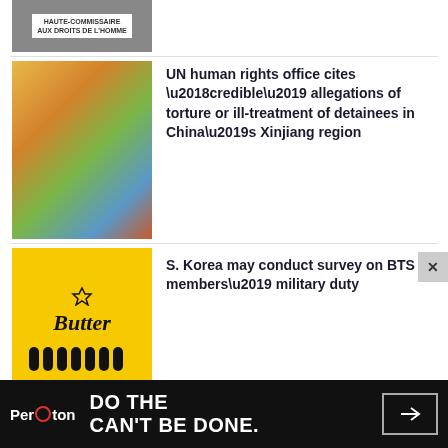[Figure (photo): Partial top image showing a person holding a sign that reads HAUTE-COMMISSAIRE AUX DROITS DE L'HOMME]
[Figure (photo): Colorful map of China/Asia region with bright colors]
UN human rights office cites ‘credible’ allegations of torture or ill-treatment of detainees in China’s Xinjiang region
[Figure (photo): BTS Butter album cover - yellow background with BTS members in black suits and Butter script logo]
S. Korea may conduct survey on BTS members’ military duty
Recommended
[Figure (photo): Electric vehicle (silver car) driving on road near Golden Gate Bridge area]
Listen: Virginia moves toward EV cars, but how do they drive? 🎧
[Figure (screenshot): Peraton advertisement banner: DO THE CAN'T BE DONE with arrow button]